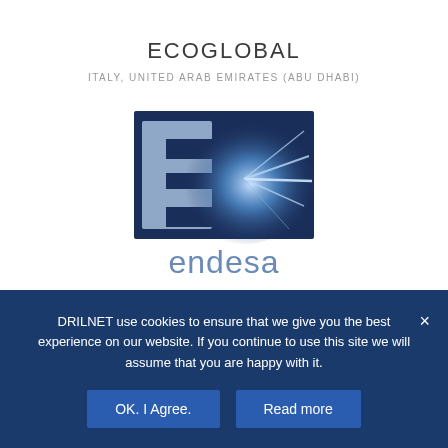ECOGLOBAL
ITALY, UNITED ARAB EMIRATES (ABU DHABI)
[Figure (logo): Endesa company logo — letter E with blue radiating light on dark blue background, with 'endesa' wordmark in steel blue below]
ENDESA
SPAIN
DRILNET use cookies to ensure that we give you the best experience on our website. If you continue to use this site we will assume that you are happy with it.